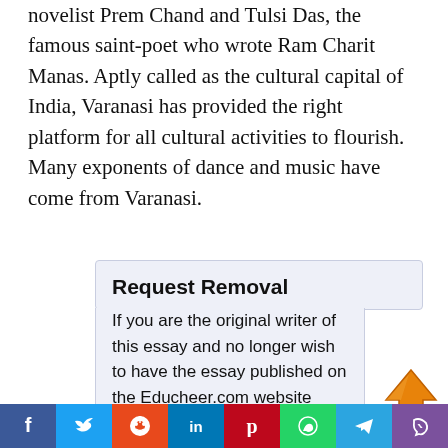novelist Prem Chand and Tulsi Das, the famous saint-poet who wrote Ram Charit Manas. Aptly called as the cultural capital of India, Varanasi has provided the right platform for all cultural activities to flourish. Many exponents of dance and music have come from Varanasi.
Request Removal
If you are the original writer of this essay and no longer wish to have the essay published on the Educheer.com website then please click on the link below to request removal:
[Figure (infographic): Orange upward arrow scroll-to-top button icon]
[Figure (infographic): Social media sharing bar with icons for Facebook, Twitter, Reddit, LinkedIn, Pinterest, WhatsApp, Telegram, and Viber]